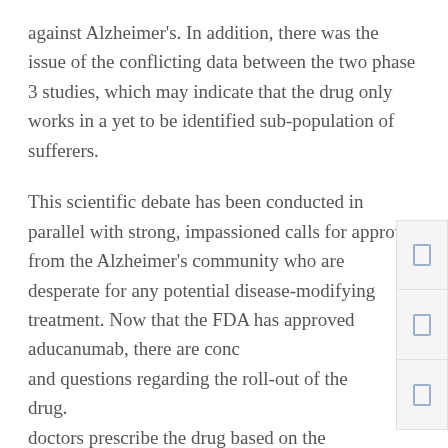against Alzheimer's. In addition, there was the issue of the conflicting data between the two phase 3 studies, which may indicate that the drug only works in a yet to be identified sub-population of sufferers.
This scientific debate has been conducted in parallel with strong, impassioned calls for approval from the Alzheimer's community who are desperate for any potential disease-modifying treatment. Now that the FDA has approved aducanumab, there are concerns and questions regarding the roll-out of the drug. doctors prescribe the drug based on the current data? Will health insurance companies in the U.S for the treatment, which may carry a significant c